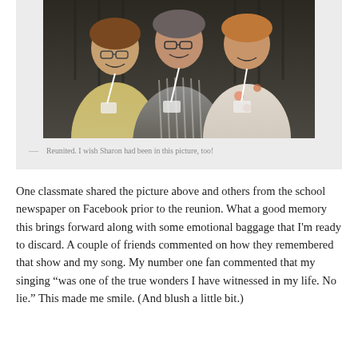[Figure (photo): Three people smiling together at what appears to be a conference or reunion event, wearing name badge lanyards. The person on the left wears a yellow jacket, the person in the center wears a striped shirt and glasses, and the person on the right wears a floral top.]
— Reunited. I wish Sharon had been in this picture, too!
One classmate shared the picture above and others from the school newspaper on Facebook prior to the reunion. What a good memory this brings forward along with some emotional baggage that I'm ready to discard. A couple of friends commented on how they remembered that show and my song. My number one fan commented that my singing “was one of the true wonders I have witnessed in my life. No lie.” This made me smile. (And blush a little bit.)